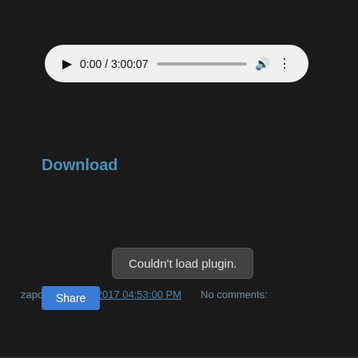[Figure (screenshot): Audio player control bar showing play button, time 0:00 / 3:00:07, progress bar, volume icon, and more-options icon on a light rounded background]
Couldn't load plugin.
Download
zapoper at 8/27/2017 04:53:00 PM   No comments:
Share